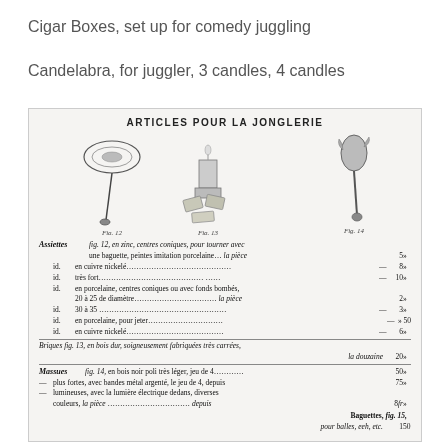Cigar Boxes, set up for comedy juggling
Candelabra, for juggler, 3 candles, 4 candles
[Figure (illustration): Catalogue page titled ARTICLES POUR LA JONGLERIE showing juggling articles: spinning plate on stick (Fig. 12), cigar boxes / wooden blocks (Fig. 13), and juggling clubs/candelabra (Fig. 14), followed by French text listing product descriptions and prices for assiettes, briques, massues, baguettes.]